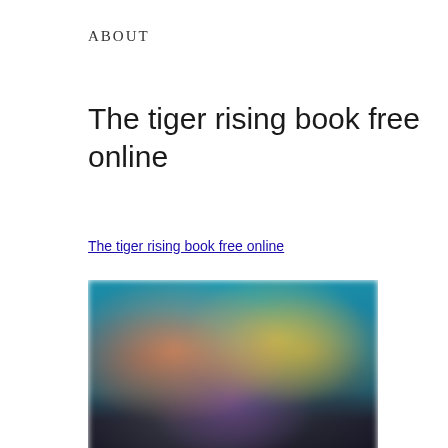About
The tiger rising book free online
The tiger rising book free online
[Figure (photo): A blurred colorful image, likely a screenshot of a streaming or gaming platform showing multiple content thumbnails with teal, green, orange and dark purple tones.]